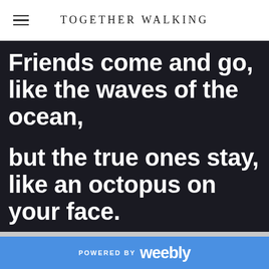TOGETHER WALKING
Friends come and go, like the waves of the ocean, but the true ones stay, like an octopus on your face.
POWERED BY weebly